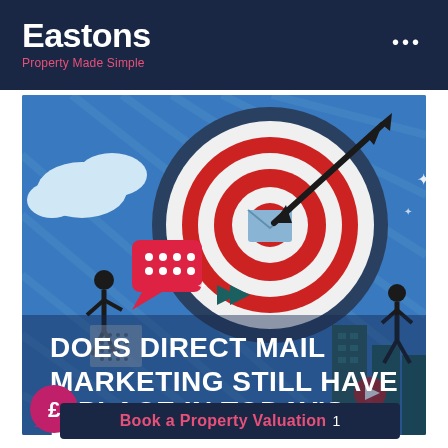Eastons Property Made Simple
[Figure (illustration): Marketing illustration showing a bullseye target with red and white rings, an arrow hitting the center with an envelope, surrounded by digital marketing icons including chat bubbles, arrows, people, and decorative elements on a blue striped background. Text overlay reads: DOES DIRECT MAIL MARKETING STILL HAVE A PLACE IN TODAY'S DIGITAL WORLD?]
Book a Property Valuation